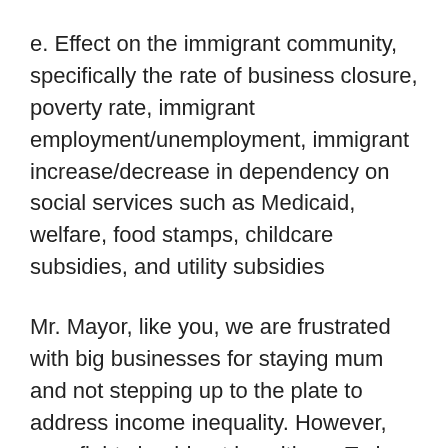e. Effect on the immigrant community, specifically the rate of business closure, poverty rate, immigrant employment/unemployment, immigrant increase/decrease in dependency on social services such as Medicaid, welfare, food stamps, childcare subsidies, and utility subsidies
Mr. Mayor, like you, we are frustrated with big businesses for staying mum and not stepping up to the plate to address income inequality. However, your fight should not be with us. Today, there are more registered minority businesses in Seattle than any other type. We make up a giant portion of Seattle's economy. This policy will have a ripple effect going forth, not only on the multicultural